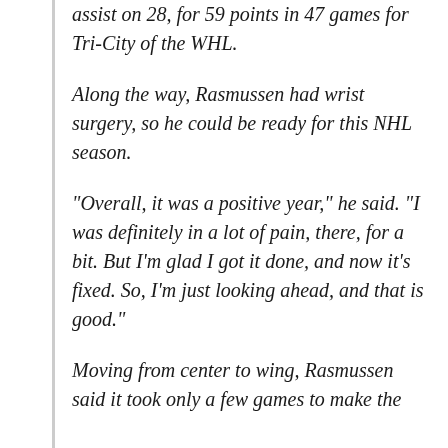assist on 28, for 59 points in 47 games for Tri-City of the WHL.
Along the way, Rasmussen had wrist surgery, so he could be ready for this NHL season.
“Overall, it was a positive year,” he said. “I was definitely in a lot of pain, there, for a bit. But I’m glad I got it done, and now it’s fixed. So, I’m just looking ahead, and that is good.”
Moving from center to wing, Rasmussen said it took only a few games to make the adjustment. He said he is sure that Red...